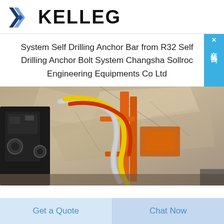KELLEG
System Self Drilling Anchor Bar from R32 Self Drilling Anchor Bolt System Changsha Sollroc Engineering Equipments Co Ltd
[Figure (photo): Drilling equipment with orange and black machinery against a rocky wall surface, with hoses and cables visible]
Get a Quote
Chat Now